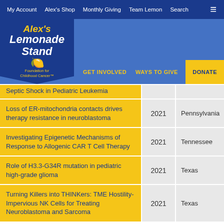My Account  Alex's Shop  Monthly Giving  Team Lemon  Search
[Figure (logo): Alex's Lemonade Stand Foundation for Childhood Cancer logo]
GET INVOLVED  WAYS TO GIVE  DONATE
| Title | Year | State |
| --- | --- | --- |
| Septic Shock in Pediatric Leukemia |  |  |
| Loss of ER-mitochondria contacts drives therapy resistance in neuroblastoma | 2021 | Pennsylvania |
| Investigating Epigenetic Mechanisms of Response to Allogenic CAR T Cell Therapy | 2021 | Tennessee |
| Role of H3.3-G34R mutation in pediatric high-grade glioma | 2021 | Texas |
| Turning Killers into THINKers: TME Hostility-Impervious NK Cells for Treating Neuroblastoma and Sarcoma | 2021 | Texas |